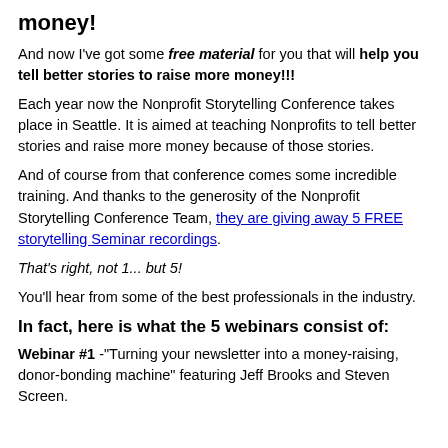money!
And now I've got some free material for you that will help you tell better stories to raise more money!!!
Each year now the Nonprofit Storytelling Conference takes place in Seattle. It is aimed at teaching Nonprofits to tell better stories and raise more money because of those stories.
And of course from that conference comes some incredible training. And thanks to the generosity of the Nonprofit Storytelling Conference Team, they are giving away 5 FREE storytelling Seminar recordings.
That's right, not 1... but 5!
You'll hear from some of the best professionals in the industry.
In fact, here is what the 5 webinars consist of:
Webinar #1 -"Turning your newsletter into a money-raising, donor-bonding machine" featuring Jeff Brooks and Steven Screen.